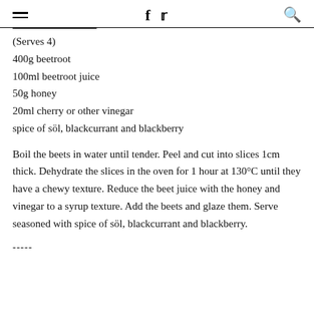≡  f  🐦  🔍
(Serves 4)
400g beetroot
100ml beetroot juice
50g honey
20ml cherry or other vinegar
spice of söl, blackcurrant and blackberry
Boil the beets in water until tender. Peel and cut into slices 1cm thick. Dehydrate the slices in the oven for 1 hour at 130°C until they have a chewy texture. Reduce the beet juice with the honey and vinegar to a syrup texture. Add the beets and glaze them. Serve seasoned with spice of söl, blackcurrant and blackberry.
-----